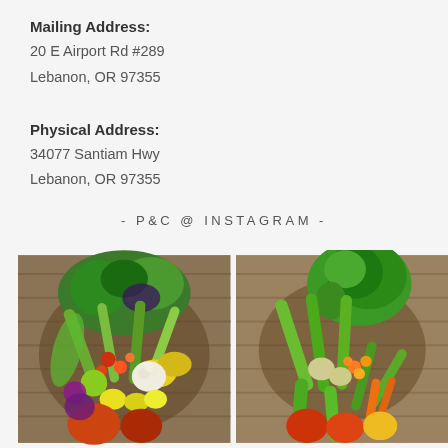Mailing Address:
20 E Airport Rd #289
Lebanon, OR 97355
Physical Address:
34077 Santiam Hwy
Lebanon, OR 97355
- P&C @ INSTAGRAM -
[Figure (photo): Overhead photo of a colorful vegetable basket on a wooden table — includes zucchini, leeks, tomatoes, squash, cabbage, apples, dill, and mixed greens]
[Figure (photo): Overhead photo of a vegetable basket on a wooden table — includes lettuce, cucumbers, zucchini, carrots, cherry tomatoes, and heirloom tomatoes]